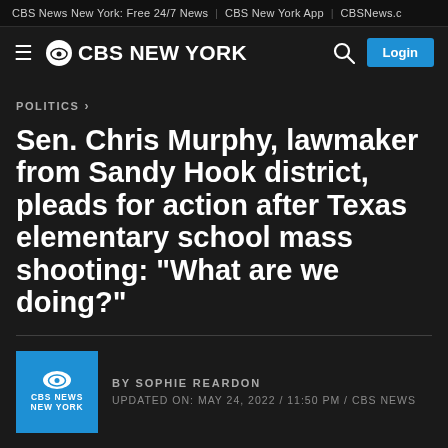CBS News New York: Free 24/7 News  |  CBS New York App  |  CBSNews.c
CBS NEW YORK
POLITICS >
Sen. Chris Murphy, lawmaker from Sandy Hook district, pleads for action after Texas elementary school mass shooting: "What are we doing?"
BY SOPHIE REARDON
UPDATED ON: MAY 24, 2022 / 11:50 PM / CBS NEWS